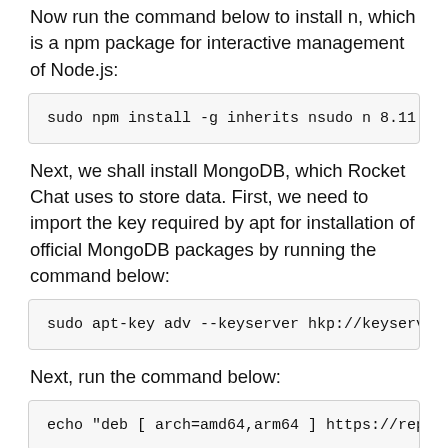Now run the command below to install n, which is a npm package for interactive management of Node.js:
sudo npm install -g inherits nsudo n 8.11.3
Next, we shall install MongoDB, which Rocket Chat uses to store data. First, we need to import the key required by apt for installation of official MongoDB packages by running the command below:
sudo apt-key adv --keyserver hkp://keyserver.ubun
Next, run the command below:
echo "deb [ arch=amd64,arm64 ] https://repo.mongo
Next, run the update below to install Mongo: